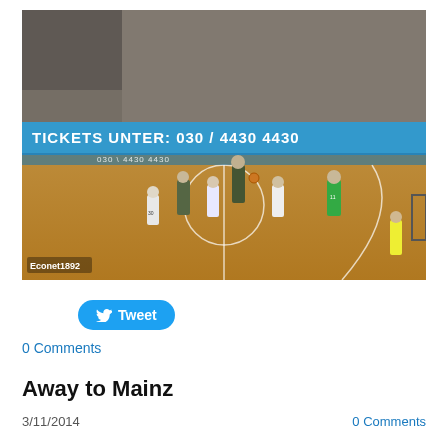[Figure (photo): Indoor handball game action shot with a packed crowd in the stands. Players in white, dark, and green uniforms visible on a wooden court. A blue advertising banner reads 'TICKETS UNTER: 030 / 4430 4430'. Watermark 'Econet1892' visible in lower left corner.]
Tweet
0 Comments
Away to Mainz
3/11/2014
0 Comments